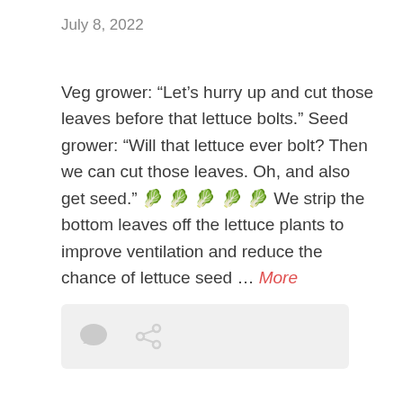July 8, 2022
Veg grower: “Let’s hurry up and cut those leaves before that lettuce bolts.” Seed grower: “Will that lettuce ever bolt? Then we can cut those leaves. Oh, and also get seed.” 🥬 🥬 🥬 🥬 🥬 We strip the bottom leaves off the lettuce plants to improve ventilation and reduce the chance of lettuce seed … More
[Figure (other): Action bar with comment bubble icon and share/link icon on a light grey background]